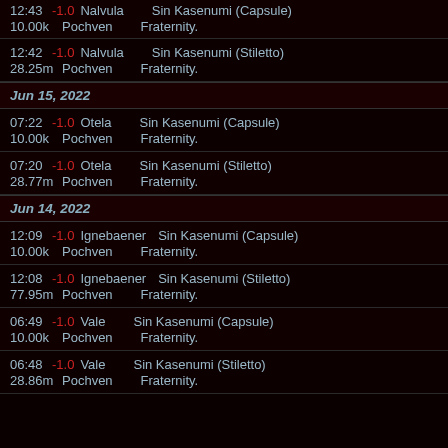12:43 -1.0 Nalvula Sin Kasenumi (Capsule) 10.00k Pochven Fraternity.
12:42 -1.0 Nalvula Sin Kasenumi (Stiletto) 28.25m Pochven Fraternity.
Jun 15, 2022
07:22 -1.0 Otela Sin Kasenumi (Capsule) 10.00k Pochven Fraternity.
07:20 -1.0 Otela Sin Kasenumi (Stiletto) 28.77m Pochven Fraternity.
Jun 14, 2022
12:09 -1.0 Ignebaener Sin Kasenumi (Capsule) 10.00k Pochven Fraternity.
12:08 -1.0 Ignebaener Sin Kasenumi (Stiletto) 77.95m Pochven Fraternity.
06:49 -1.0 Vale Sin Kasenumi (Capsule) 10.00k Pochven Fraternity.
06:48 -1.0 Vale Sin Kasenumi (Stiletto) 28.86m Pochven Fraternity.